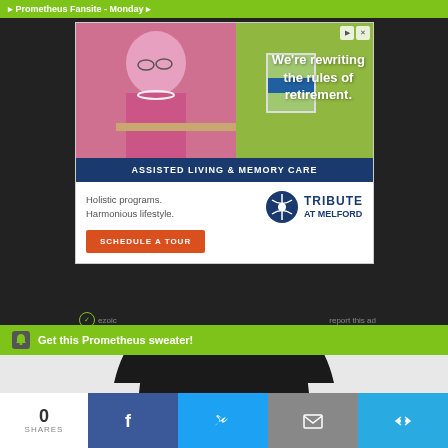[Figure (photo): Advertisement for Tribute at Melford assisted living. Photo shows elderly woman painting at a table outdoors. Text overlay: 'We're rewriting the rules of retirement.' Blue banner: 'ASSISTED LIVING & MEMORY CARE'. Tagline: 'Holistic programs. Harmonious lifestyle.' Logo: Tribute at Melford. Button: 'SCHEDULE A TOUR']
report this ad
Get this Prometheus sweater!
[Figure (photo): Black sweater/hoodie product photo on light gray background]
0
SHARES